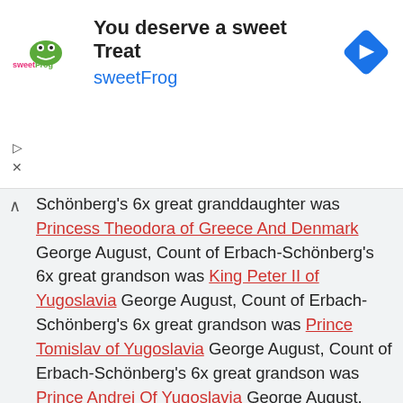[Figure (infographic): sweetFrog advertisement banner with logo, headline 'You deserve a sweet Treat', brand name 'sweetFrog', and a blue diamond navigation icon]
Schönberg's 6x great granddaughter was Princess Theodora of Greece And Denmark George August, Count of Erbach-Schönberg's 6x great grandson was King Peter II of Yugoslavia George August, Count of Erbach-Schönberg's 6x great grandson was Prince Tomislav of Yugoslavia George August, Count of Erbach-Schönberg's 6x great grandson was Prince Andrej Of Yugoslavia George August, Count of Erbach-